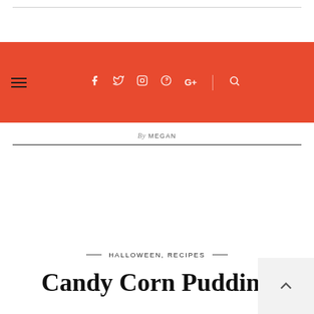Navigation bar with hamburger menu, social icons (facebook, twitter, instagram, pinterest, google+), and search icon on red/orange background
By MEGAN
HALLOWEEN, RECIPES
Candy Corn Pudding